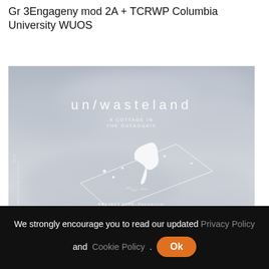Gr 3Engageny mod 2A + TCRWP Columbia University WUOS
[Figure (illustration): Architectural project poster with cloudy grey sky background. Title reads 'un/wasteland' in large spaced white letters. Below is subtitle 'A COTTAGE IN THE OUTAOUAIS'. A white architectural diagram/model of a building on a triangular site plan is shown in the center. Bottom text shows 'PROJECT TYPE: Residential', 'LOCATION: Outaouais, Quebec, Canada', and other credits. The overall aesthetic is monochromatic and minimalist.]
We strongly encourage you to read our updated Privacy Policy and Cookie Policy. Ok